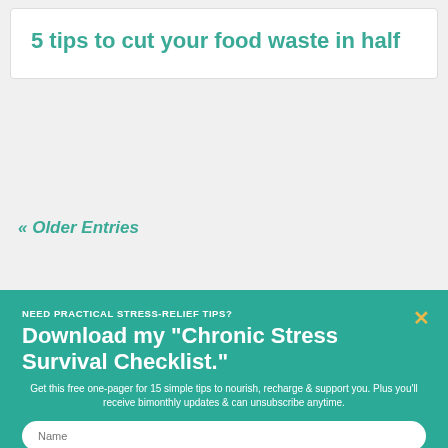5 tips to cut your food waste in half
« Older Entries
NEED PRACTICAL STRESS-RELIEF TIPS?
Download my "Chronic Stress Survival Checklist."
Get this free one-pager for 15 simple tips to nourish, recharge & support you. Plus you'll receive bimonthly updates & can unsubscribe anytime.
Name
Email
Get it now.